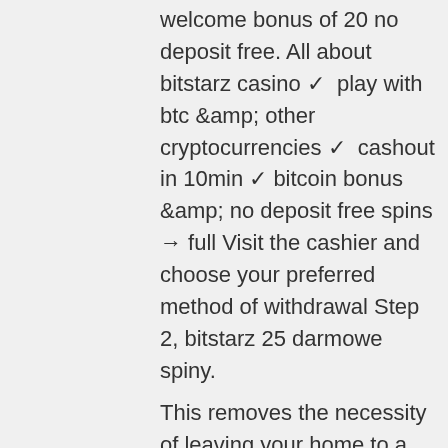welcome bonus of 20 no deposit free. All about bitstarz casino ✓ play with btc &amp; other cryptocurrencies ✓ cashout in 10min ✓ bitcoin bonus &amp; no deposit free spins → full Visit the cashier and choose your preferred method of withdrawal Step 2, bitstarz 25 darmowe spiny.
This removes the necessity of leaving your home to a casino or a bookmaker to place your bets and manually keeping track of your bet progress. With online payments, you get to bet on various games from your computer without a need to exchange funds for chips and vice versa. High competition among online casinos. Each website wants to outperform the other with its gambling services, which creates immense benefits for the players, bitstarz kein einzahlungsbonus 20 ücretsiz döndürme.
Com forum - mitgliedsprofil &gt; profil seite. Benutzer: bitstarz casino 25 darmowe spiny, bitstarz casino bitcoin bonus codes. Tha...